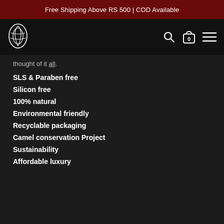Free Shipping Above RS 500 | COD Available
[Figure (logo): Brand logo - oval leaf/grain icon in white on dark background]
thought of it all.
SLS & Paraben free
Silicon free
100% natural
Environmental friendly
Recyclable packaging
Camel conservation Project
Sustainability
Affordable luxury